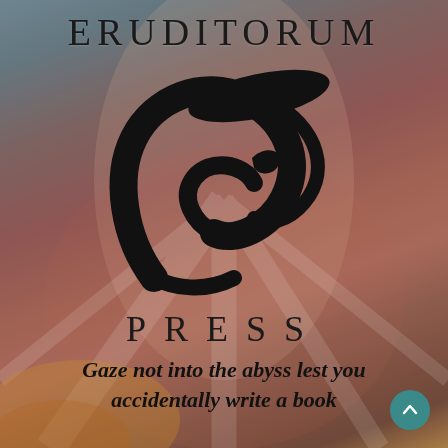[Figure (logo): Eruditorum Press logo page with stylized 'EP' calligraphic logo on a mixed warm reddish-brown and cool blue-grey painterly background (classical figure visible beneath). Text reads ERUDITORUM at top, PRESS below logo, and italic tagline at bottom.]
ERUDITORUM
PRESS
Gaze not into the abyss lest you accidentally write a book